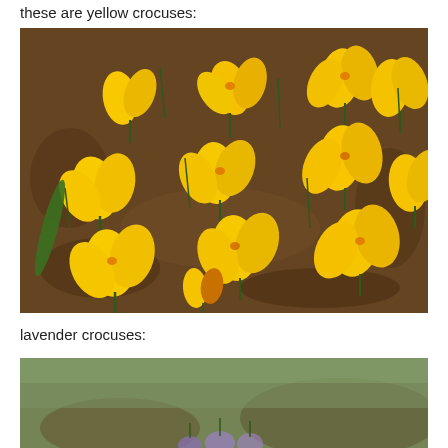these are yellow crocuses:
[Figure (photo): Photograph of yellow crocuses blooming in dark soil, showing many bright yellow-orange flowers with green stems and leaves]
lavender crocuses:
[Figure (photo): Partial photograph of lavender/purple crocuses, only top portion visible]